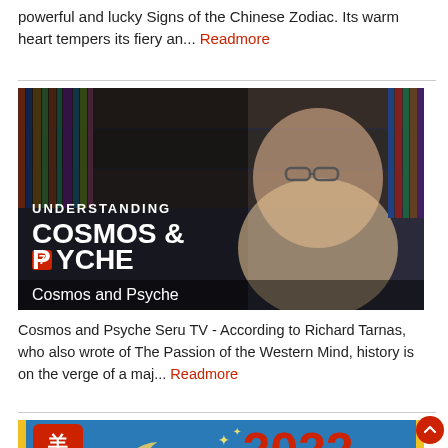powerful and lucky Signs of the Chinese Zodiac. Its warm heart tempers its fiery an... Readmore
[Figure (screenshot): Video thumbnail showing a man with glasses in front of a bookshelf, with text overlay reading 'UNDERSTANDING COSMOS & PSYCHE' and badge '7', and subtitle 'Cosmos and Psyche']
Cosmos and Psyche Seru TV - According to Richard Tarnas, who also wrote of The Passion of the Western Mind, history is on the verge of a maj... Readmore
[Figure (illustration): Colorful graphic for 2022 Goat Chinese zodiac with blue background, goat character, moon, stars, and red text '2022 Goat']